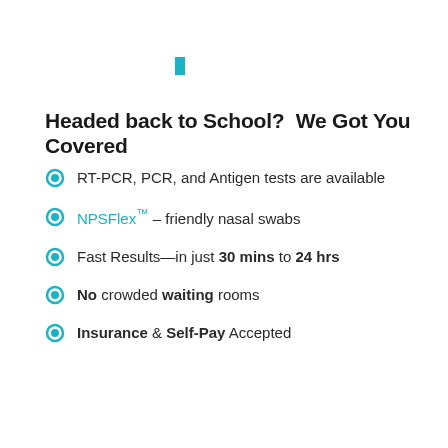[Figure (other): Small teal/cyan decorative rectangle bar at top center of page]
Headed back to School?  We Got You Covered
RT-PCR, PCR, and Antigen tests are available
NPSFlex™ – friendly nasal swabs
Fast Results—in just 30 mins to 24 hrs
No crowded waiting rooms
Insurance & Self-Pay Accepted